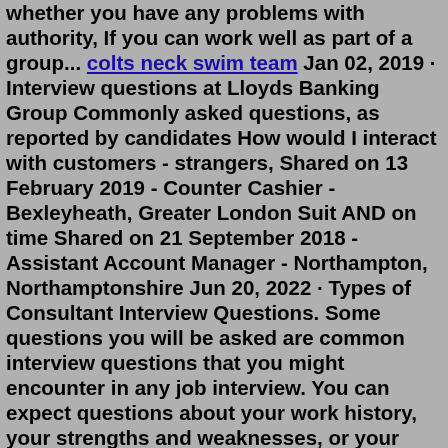whether you have any problems with authority, If you can work well as part of a group... colts neck swim team Jan 02, 2019 · Interview questions at Lloyds Banking Group Commonly asked questions, as reported by candidates How would I interact with customers - strangers, Shared on 13 February 2019 - Counter Cashier - Bexleyheath, Greater London Suit AND on time Shared on 21 September 2018 - Assistant Account Manager - Northampton, Northamptonshire Jun 20, 2022 · Types of Consultant Interview Questions. Some questions you will be asked are common interview questions that you might encounter in any job interview. You can expect questions about your work history, your strengths and weaknesses, or your skills. Anyone applying for a consulting role should feel comfortable answering questions about their ... Jun 26, 2020 · This question is common in bank interviews as the answer helps the interviewer understand your reasons behind the choice of career. Talking points can include the importance of the banking sector, its influence and